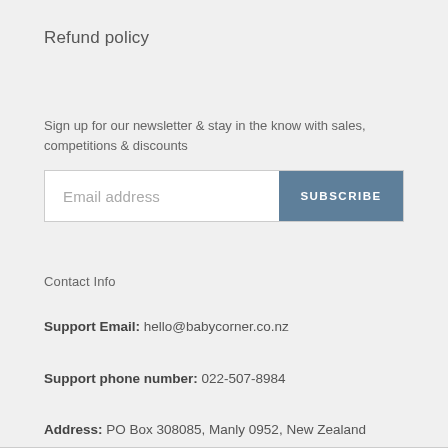Refund policy
Sign up for our newsletter & stay in the know with sales, competitions & discounts
Email address  SUBSCRIBE
Contact Info
Support Email: hello@babycorner.co.nz
Support phone number: 022-507-8984
Address: PO Box 308085, Manly 0952, New Zealand